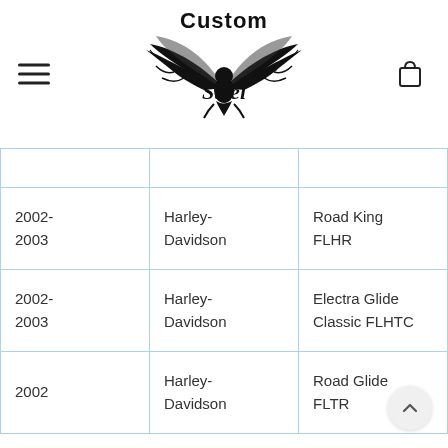[Figure (logo): Custom Steel brand logo with eagle and 'Custom Steel' text]
| Year | Make | Model |
| --- | --- | --- |
| 2002-2003 | Harley-Davidson | Road King FLHR |
| 2002-2003 | Harley-Davidson | Electra Glide Classic FLHTC |
| 2002 | Harley-Davidson | Road Glide FLTR |